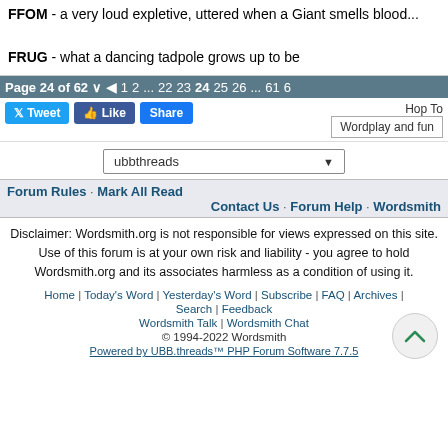FFOM - a very loud expletive, uttered when a Giant smells blood... FRUG - what a dancing tadpole grows up to be
Page 24 of 62  ◂ 1 2 ... 22 23 24 25 26 ... 61 6
Tweet  Like  Share   Hop To   Wordplay and fun
ubbthreads
Forum Rules · Mark All Read
Contact Us · Forum Help · Wordsmith
Disclaimer: Wordsmith.org is not responsible for views expressed on this site. Use of this forum is at your own risk and liability - you agree to hold Wordsmith.org and its associates harmless as a condition of using it.
Home | Today's Word | Yesterday's Word | Subscribe | FAQ | Archives | Search | Feedback
Wordsmith Talk | Wordsmith Chat
© 1994-2022 Wordsmith
Powered by UBB.threads™ PHP Forum Software 7.7.5